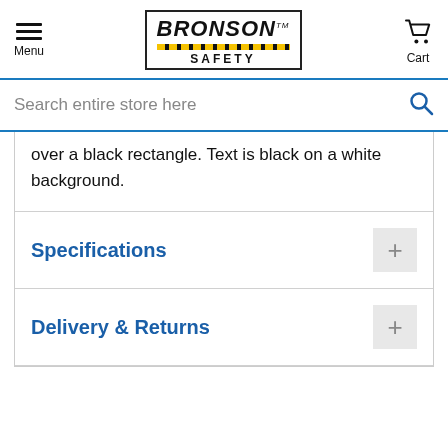Bronson Safety — Menu | Logo | Cart
Search entire store here
over a black rectangle. Text is black on a white background.
Specifications
Delivery & Returns